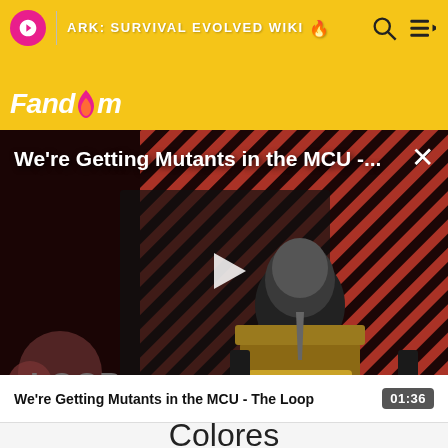ARK: SURVIVAL EVOLVED WIKI | Fandom
[Figure (screenshot): Video player showing 'We're Getting Mutants in the MCU - The Loop' with a bald man in a suit sitting in a chair against a red striped background. The Loop logo visible in bottom left.]
We're Getting Mutants in the MCU -...
We're Getting Mutants in the MCU - The Loop  01:36
Colores